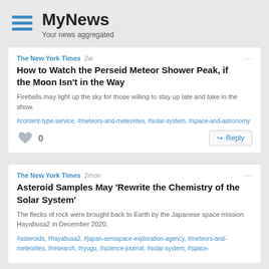MyNews
Your news aggregated
The New York Times 2w
How to Watch the Perseid Meteor Shower Peak, if the Moon Isn't in the Way
Fireballs may light up the sky for those willing to stay up late and take in the show.
#content-type-service, #meteors-and-meteorites, #solar-system, #space-and-astronomy
The New York Times 2mon
Asteroid Samples May 'Rewrite the Chemistry of the Solar System'
The flecks of rock were brought back to Earth by the Japanese space mission Hayabusa2 in December 2020.
#asteroids, #hayabusa2, #japan-aerospace-exploration-agency, #meteors-and-meteorites, #research, #ryugu, #science-journal, #solar-system, #space-